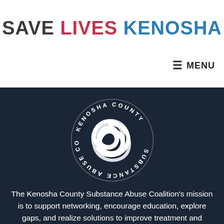SAVE LIVES KENOSHA
≡ MENU
[Figure (logo): Kenosha County Substance Abuse Coalition circular logo with a swirling arrow emblem in the center, white on dark navy background. Text around the circle reads 'KENOSHA COUNTY SUBSTANCE ABUSE COALITION'.]
The Kenosha County Substance Abuse Coalition's mission is to support networking, encourage education, explore gaps, and realize solutions to improve treatment and